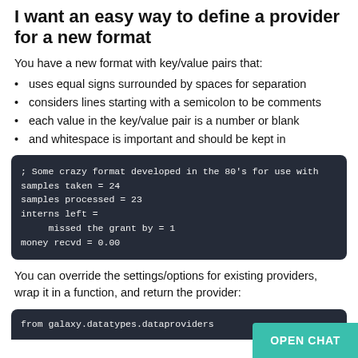I want an easy way to define a provider for a new format
You have a new format with key/value pairs that:
uses equal signs surrounded by spaces for separation
considers lines starting with a semicolon to be comments
each value in the key/value pair is a number or blank
and whitespace is important and should be kept in
[Figure (screenshot): Code block showing example of the custom format: ; Some crazy format developed in the 80's for use with
samples taken = 24
samples processed = 23
interns left =
    missed the grant by = 1
money recvd = 0.00]
You can override the settings/options for existing providers, wrap it in a function, and return the provider:
[Figure (screenshot): Code block starting with: from galaxy.datatypes.dataproviders]